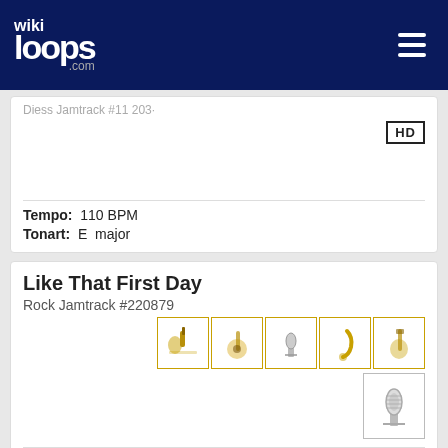wikiloops.com
Tempo: 110 BPM
Tonart: E  major
Like That First Day
Rock Jamtrack #220879
Tempo:  75 BPM
Klingt wie:  Jazzy acousti…
wikiloops.com verwendet Cookies um Dir die beste Nutzererfahrung zu ermöglichen.
Lies mehr in unseren Datenschutzbestimmungen .